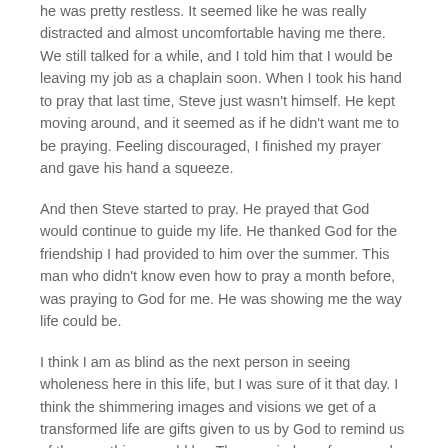he was pretty restless.  It seemed like he was really distracted and almost uncomfortable having me there.  We still talked for a while, and I told him that I would be leaving my job as a chaplain soon.  When I took his hand to pray that last time, Steve just wasn't himself.  He kept moving around, and it seemed as if he didn't want me to be praying.  Feeling discouraged, I finished my prayer and gave his hand a squeeze.
And then Steve started to pray.  He prayed that God would continue to guide my life.  He thanked God for the friendship I had provided to him over the summer.  This man who didn't know even how to pray a month before, was praying to God for me.  He was showing me the way life could be.
I think I am as blind as the next person in seeing wholeness here in this life, but I was sure of it that day.   I think the shimmering images and visions we get of a transformed life are gifts given to us by God to remind us of the way things could be.  They remind us of our need for new life.
“For God so loved the world, that he gave his one and only Son that whoever believes in him should not perish but have everlasting life.